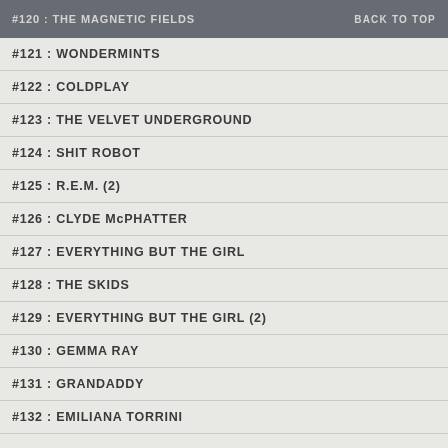#120 : THE MAGNETIC FIELDS   BACK TO TOP
#121 : WONDERMINTS
#122 : COLDPLAY
#123 : THE VELVET UNDERGROUND
#124 : SHIT ROBOT
#125 : R.E.M. (2)
#126 : CLYDE McPHATTER
#127 : EVERYTHING BUT THE GIRL
#128 : THE SKIDS
#129 : EVERYTHING BUT THE GIRL (2)
#130 : GEMMA RAY
#131 : GRANDADDY
#132 : EMILIANA TORRINI